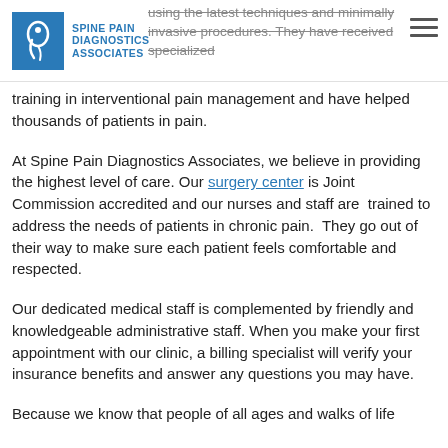Spine Pain Diagnostics Associates
using the latest techniques and minimally invasive procedures. They have received specialized training in interventional pain management and have helped thousands of patients in pain.
At Spine Pain Diagnostics Associates, we believe in providing the highest level of care. Our surgery center is Joint Commission accredited and our nurses and staff are trained to address the needs of patients in chronic pain. They go out of their way to make sure each patient feels comfortable and respected.
Our dedicated medical staff is complemented by friendly and knowledgeable administrative staff. When you make your first appointment with our clinic, a billing specialist will verify your insurance benefits and answer any questions you may have.
Because we know that people of all ages and walks of life